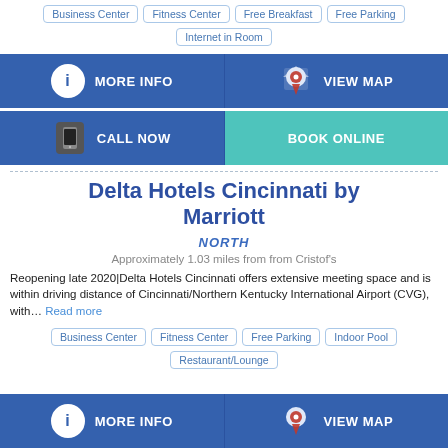Business Center
Fitness Center
Free Breakfast
Free Parking
Internet in Room
[Figure (infographic): MORE INFO button (blue with info icon)]
[Figure (infographic): VIEW MAP button (blue with map pin icon)]
[Figure (infographic): CALL NOW button (blue with phone icon)]
[Figure (infographic): BOOK ONLINE button (teal)]
Delta Hotels Cincinnati by Marriott
NORTH
Approximately 1.03 miles from from Cristof's
Reopening late 2020|Delta Hotels Cincinnati offers extensive meeting space and is within driving distance of Cincinnati/Northern Kentucky International Airport (CVG), with... Read more
Business Center
Fitness Center
Free Parking
Indoor Pool
Restaurant/Lounge
[Figure (infographic): MORE INFO button (blue with info icon) - bottom]
[Figure (infographic): VIEW MAP button (blue with map pin icon) - bottom]